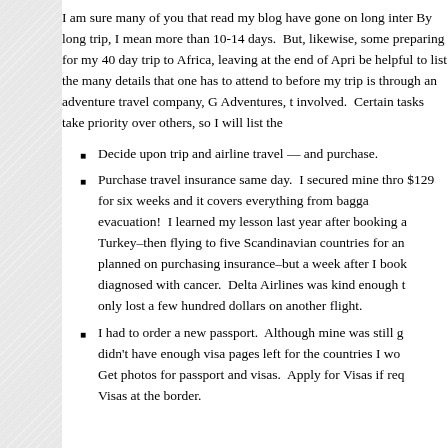I am sure many of you that read my blog have gone on long inter... By long trip, I mean more than 10-14 days.  But, likewise, some preparing for my 40 day trip to Africa, leaving at the end of Apri... be helpful to list the many details that one has to attend to before my trip is through an adventure travel company, G Adventures, t... involved.  Certain tasks take priority over others, so I will list the...
Decide upon trip and airline travel — and purchase.
Purchase travel insurance same day.  I secured mine thro... $129 for six weeks and it covers everything from bagga... evacuation!  I learned my lesson last year after booking a... Turkey–then flying to five Scandinavian countries for an... planned on purchasing insurance–but a week after I book... diagnosed with cancer.  Delta Airlines was kind enough t... only lost a few hundred dollars on another flight.
I had to order a new passport.  Although mine was still g... didn't have enough visa pages left for the countries I wo... Get photos for passport and visas.  Apply for Visas if req... Visas at the border.